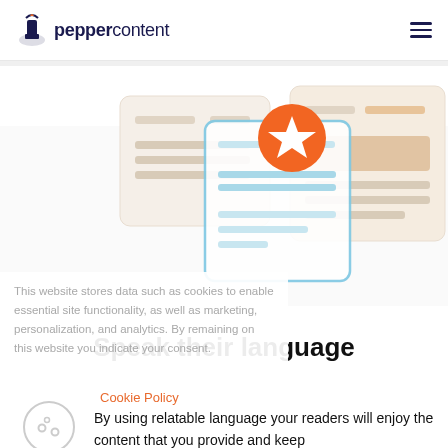peppercontent
[Figure (illustration): Three card UI mockups with an orange star badge in the center, representing content quality features]
This website stores data such as cookies to enable essential site functionality, as well as marketing, personalization, and analytics. By remaining on this website you indicate your consent.
Speak their language
Cookie Policy
By using relatable language your readers will enjoy the content that you provide and keep